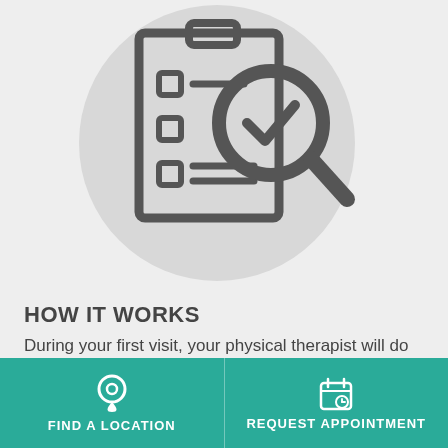[Figure (illustration): A clipboard with checklist items and a magnifying glass with a checkmark inside, on a light grey circular background. The illustration is in dark grey/charcoal icon style.]
HOW IT WORKS
During your first visit, your physical therapist will do an initial evaluation and discuss your plan of care.  The therapist uses this information to set goals for your continued
[Figure (infographic): Teal footer bar with two buttons: 'FIND A LOCATION' with a map pin icon, and 'REQUEST APPOINTMENT' with a calendar icon.]